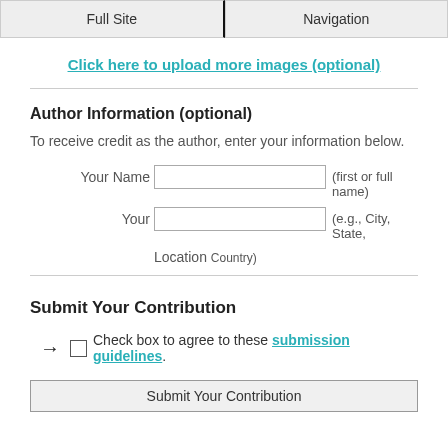Full Site | Navigation
Click here to upload more images (optional)
Author Information (optional)
To receive credit as the author, enter your information below.
Your Name [input] (first or full name)
Your Location [input] (e.g., City, State, Country)
Submit Your Contribution
→ Check box to agree to these submission guidelines.
Submit Your Contribution